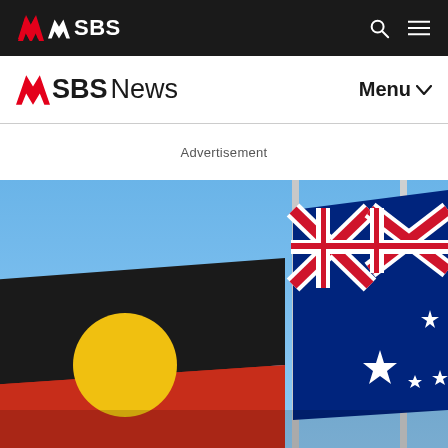SBS
SBS News  Menu
Advertisement
[Figure (photo): Australian Aboriginal flag and Australian flag flying side by side against a blue sky, mounted on silver flagpoles. The Aboriginal flag features black top half, red bottom half, and yellow circle in center. The Australian flag shows the Union Jack and Southern Cross on navy blue background.]